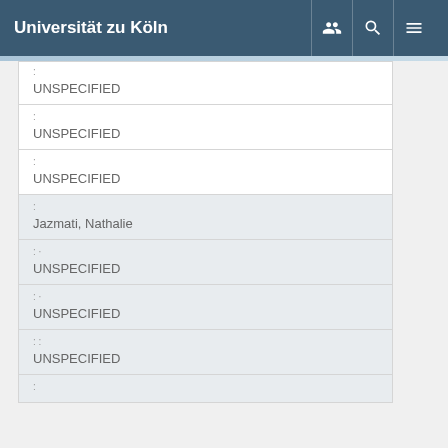Universität zu Köln
: UNSPECIFIED
: UNSPECIFIED
: UNSPECIFIED
: Jazmati, Nathalie
: · UNSPECIFIED
: · UNSPECIFIED
: : UNSPECIFIED
: